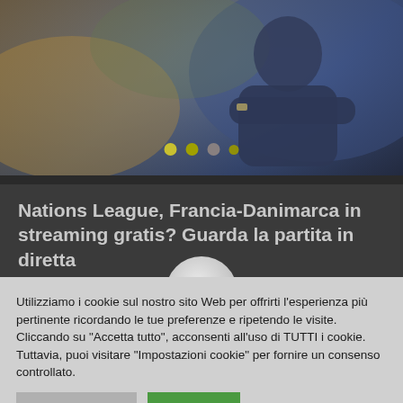[Figure (photo): Sports coach or manager standing with arms crossed, blurred stadium background, carousel with dots visible]
Nations League, Francia-Danimarca in streaming gratis? Guarda la partita in diretta
Utilizziamo i cookie sul nostro sito Web per offrirti l'esperienza più pertinente ricordando le tue preferenze e ripetendo le visite. Cliccando su "Accetta tutto", acconsenti all'uso di TUTTI i cookie. Tuttavia, puoi visitare "Impostazioni cookie" per fornire un consenso controllato.
Cookie Settings | Accept All
giocheranno questa sera Francia-Danimarca, valida
[ nata della UEFA Nations League
[ e due squadre sono state inserite nel Gruppo ]